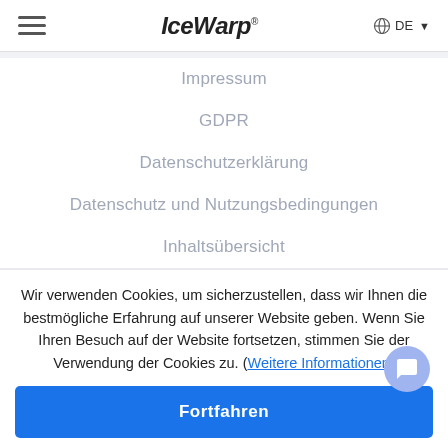IceWarp DE
Impressum
GDPR
Datenschutzerklärung
Datenschutz und Nutzungsbedingungen
Inhaltsübersicht
Wir verwenden Cookies, um sicherzustellen, dass wir Ihnen die bestmögliche Erfahrung auf unserer Website geben. Wenn Sie Ihren Besuch auf der Website fortsetzen, stimmen Sie der Verwendung der Cookies zu. (Weitere Informationen)
Fortfahren